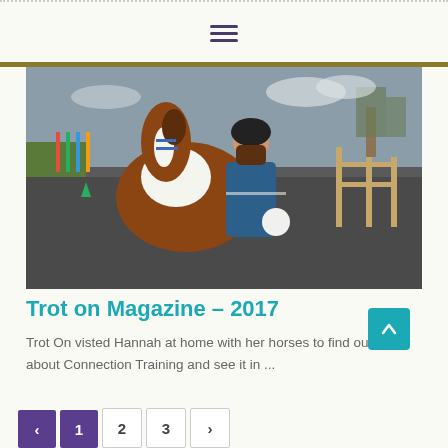Navigation menu icon (hamburger)
[Figure (photo): A person wearing a riding helmet standing next to a brown and white pony on a gravel arena, with coloured poles and a wooden fence in the background.]
Trot on Magazine – 2017
Trot On visted Hannah at home with her horses to find out more about Connection Training and see it in ...
Read More
‹ 1 2 3 ›